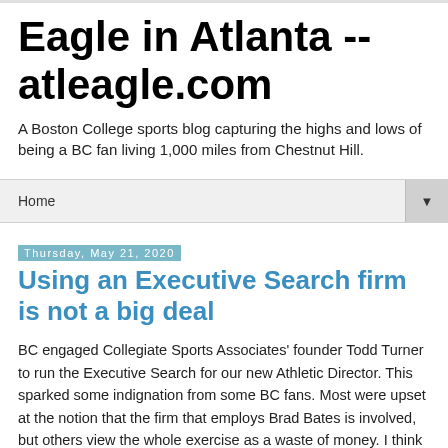Eagle in Atlanta -- atleagle.com
A Boston College sports blog capturing the highs and lows of being a BC fan living 1,000 miles from Chestnut Hill.
Home
Thursday, May 21, 2020
Using an Executive Search firm is not a big deal
BC engaged Collegiate Sports Associates' founder Todd Turner to run the Executive Search for our new Athletic Director. This sparked some indignation from some BC fans. Most were upset at the notion that the firm that employs Brad Bates is involved, but others view the whole exercise as a waste of money. I think the whole kerfuffle is silly.